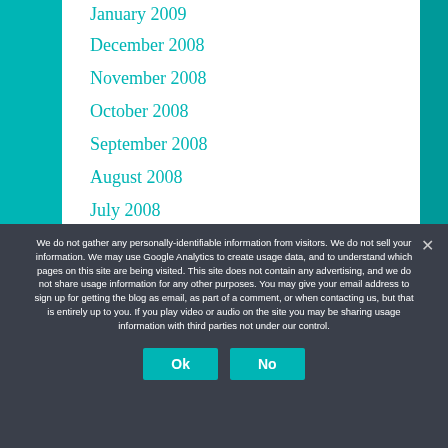January 2009
December 2008
November 2008
October 2008
September 2008
August 2008
July 2008
We do not gather any personally-identifiable information from visitors. We do not sell your information. We may use Google Analytics to create usage data, and to understand which pages on this site are being visited. This site does not contain any advertising, and we do not share usage information for any other purposes. You may give your email address to sign up for getting the blog as email, as part of a comment, or when contacting us, but that is entirely up to you. If you play video or audio on the site you may be sharing usage information with third parties not under our control.